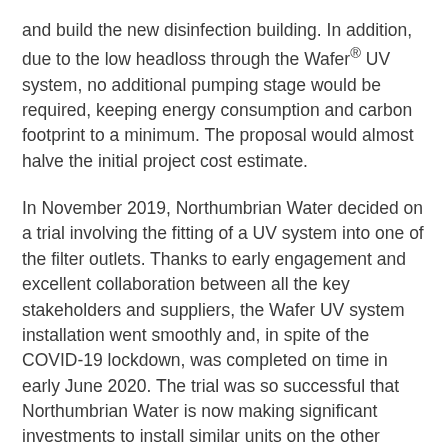and build the new disinfection building. In addition, due to the low headloss through the Wafer® UV system, no additional pumping stage would be required, keeping energy consumption and carbon footprint to a minimum. The proposal would almost halve the initial project cost estimate.
In November 2019, Northumbrian Water decided on a trial involving the fitting of a UV system into one of the filter outlets. Thanks to early engagement and excellent collaboration between all the key stakeholders and suppliers, the Wafer UV system installation went smoothly and, in spite of the COVID-19 lockdown, was completed on time in early June 2020. The trial was so successful that Northumbrian Water is now making significant investments to install similar units on the other eleven filters by the end of 2022.